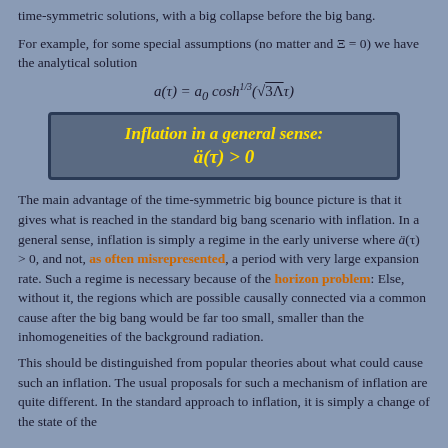time-symmetric solutions, with a big collapse before the big bang.
For example, for some special assumptions (no matter and Ξ = 0) we have the analytical solution
[Figure (other): Highlighted box: Inflation in a general sense: ä(τ) > 0]
The main advantage of the time-symmetric big bounce picture is that it gives what is reached in the standard big bang scenario with inflation. In a general sense, inflation is simply a regime in the early universe where ä(τ) > 0, and not, as often misrepresented, a period with very large expansion rate. Such a regime is necessary because of the horizon problem: Else, without it, the regions which are possible causally connected via a common cause after the big bang would be far too small, smaller than the inhomogeneities of the background radiation.
This should be distinguished from popular theories about what could cause such an inflation. The usual proposals for such a mechanism of inflation are quite different. In the standard approach to inflation, it is simply a change of the state of the